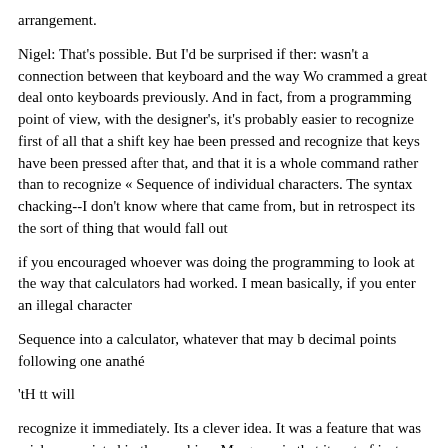arrangement.
Nigel: That's possible. But I'd be surprised if ther: wasn't a connection between that keyboard and the way Wo crammed a great deal onto keyboards previously. And in fact, from a programming point of view, with the designer's, it's probably easier to recognize first of all that a shift key hae been pressed and recognize that keys have been pressed after that, and that it is a whole command rather than to recognize « Sequence of individual characters. The syntax chacking--I don't know where that came from, but in retrospect its the sort of thing that would fall out
if you encouraged whoever was doing the programming to look at the way that calculators had worked. I mean basically, if you enter an illegal character
Sequence into a calculator, whatever that may b decimal points following one anathé
'tH tt will
recognize it immediately. Its a clever idea. It was a feature that was mich appreciated in the machine. My guess ie that it sort of just dropped out of the design criteria.
Tim: Here in the U.S., our major contact with Sinclair was through